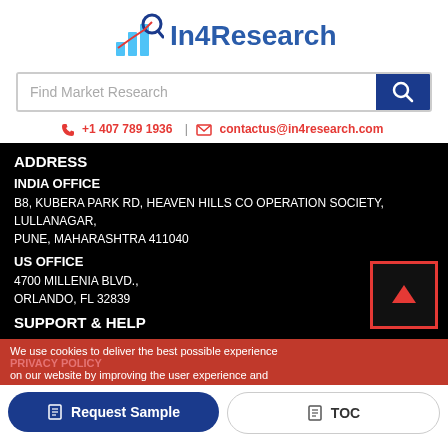[Figure (logo): In4Research logo with bar chart and magnifying glass icon, blue text]
[Figure (screenshot): Search bar with 'Find Market Research' placeholder and blue search button]
+1 407 789 1936 | contactus@in4research.com
ADDRESS
INDIA OFFICE
B8, KUBERA PARK RD, HEAVEN HILLS CO OPERATION SOCIETY, LULLANAGAR,
PUNE, MAHARASHTRA 411040
US OFFICE
4700 MILLENIA BLVD.,
ORLANDO, FL 32839
SUPPORT & HELP
We use cookies to deliver the best possible experience on our website by improving the user experience and
PRIVACY POLICY